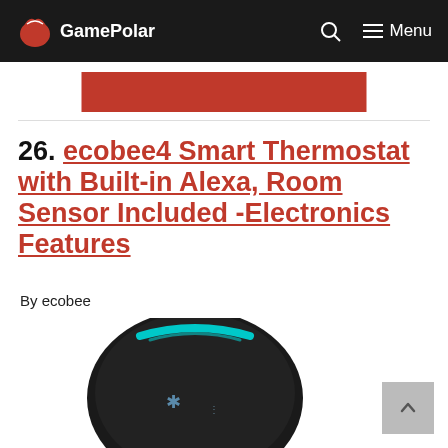GamePolar
[Figure (illustration): Red banner/button element partially visible at top]
26. ecobee4 Smart Thermostat with Built-in Alexa, Room Sensor Included -Electronics Features
By ecobee
[Figure (photo): Top-down view of a black ecobee4 Smart Thermostat device with teal LED ring and symbols on the display face]